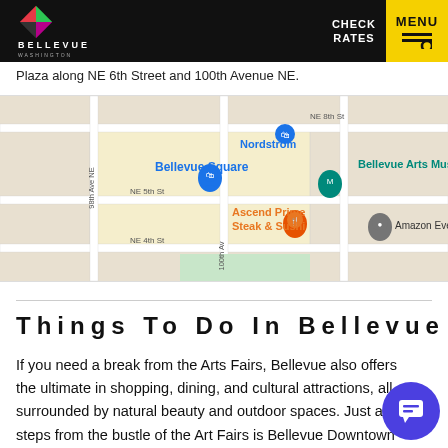Bellevue Washington — CHECK RATES | MENU
Plaza along NE 6th Street and 100th Avenue NE.
[Figure (map): Google Maps screenshot showing area around Bellevue Square, Nordstrom, Bellevue Arts Museum, Ascend Prime Steak & Sushi, Amazon Everest location, with streets NE 8th St, NE 5th St, NE 4th St, 98th Ave NE, 100th Ave.]
Things To Do In Bellevue
If you need a break from the Arts Fairs, Bellevue also offers the ultimate in shopping, dining, and cultural attractions, all surrounded by natural beauty and outdoor spaces. Just a few steps from the bustle of the Art Fairs is Bellevue Downtown Park, located between NE 4th and NE 2nd, just west of Bellevue Way. And if you want to explore